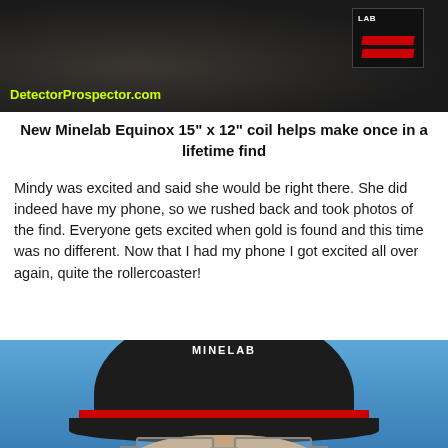[Figure (photo): Top photo showing a Minelab metal detector coil on dark ground, with DetectorProspector.com watermark in yellow-green text at bottom left]
New Minelab Equinox 15" x 12" coil helps make once in a lifetime find
Mindy was excited and said she would be right there. She did indeed have my phone, so we rushed back and took photos of the find. Everyone gets excited when gold is found and this time was no different. Now that I had my phone I got excited all over again, quite the rollercoaster!
[Figure (photo): Photo of a person wearing a black Minelab branded cap with red brim stripe and glasses, photographed against a blue sky background, showing forehead, cap, and upper face with glasses]